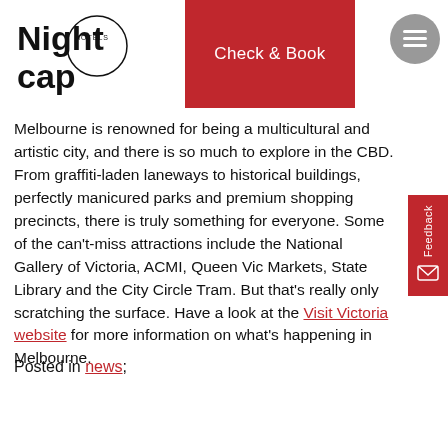Nightcap Hotels | Check & Book
Melbourne is renowned for being a multicultural and artistic city, and there is so much to explore in the CBD. From graffiti-laden laneways to historical buildings, perfectly manicured parks and premium shopping precincts, there is truly something for everyone. Some of the can't-miss attractions include the National Gallery of Victoria, ACMI, Queen Vic Markets, State Library and the City Circle Tram. But that's really only scratching the surface. Have a look at the Visit Victoria website for more information on what's happening in Melbourne.
Posted in news;